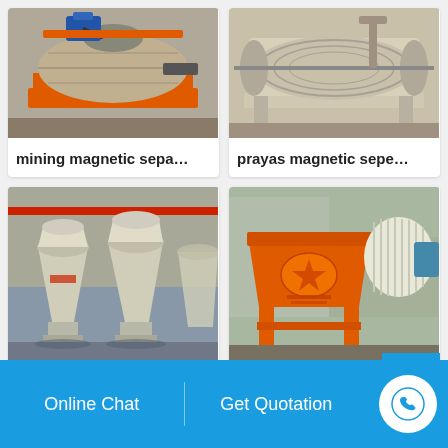[Figure (photo): Orange magnetic separator machine with drum and motor on orange frame]
mining magnetic sepa…
[Figure (photo): Beige/cream colored magnetic separator machine outdoors]
prayas magnetic sepe…
[Figure (photo): Multiple cream/white cone crusher machines in industrial factory setting]
Vibro separator and f…
[Figure (photo): Orange high intensity magnetic separator machine outdoors]
high intensity magnet…
Online Chat   Get Quotation